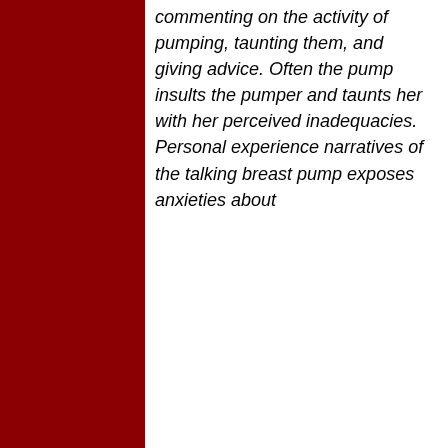commenting on the activity of pumping, taunting them, and giving advice. Often the pump insults the pumper and taunts her with her perceived inadequacies. Personal experience narratives of the talking breast pump exposes anxieties about